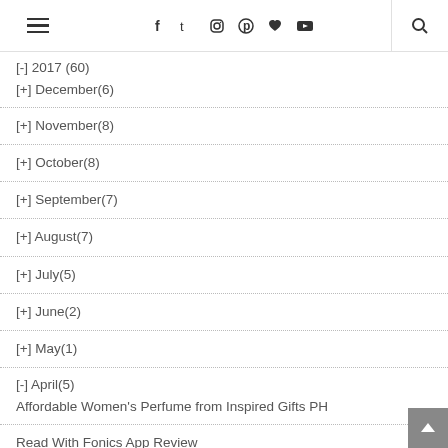Navigation header with hamburger menu, social icons (facebook, twitter, instagram, pinterest, heart, youtube), and search icon
[-] 2017 (60)
[+] December(6)
[+] November(8)
[+] October(8)
[+] September(7)
[+] August(7)
[+] July(5)
[+] June(2)
[+] May(1)
[-] April(5)
Affordable Women's Perfume from Inspired Gifts PH
Read With Fonics App Review
Nutri 10 Plus Review - A Great Picky...